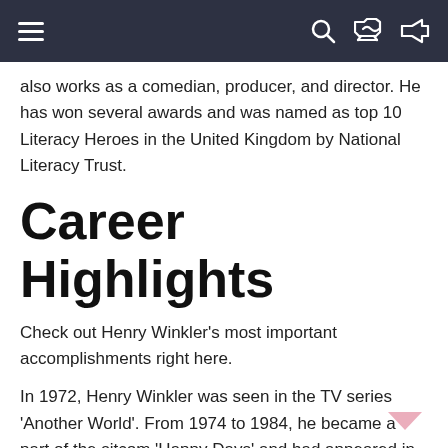Navigation bar with hamburger menu, search, and shuffle icons
also works as a comedian, producer, and director. He has won several awards and was named as top 10 Literacy Heroes in the United Kingdom by National Literacy Trust.
Career Highlights
Check out Henry Winkler's most important accomplishments right here.
In 1972, Henry Winkler was seen in the TV series 'Another World'. From 1974 to 1984, he became a part of the sitcom 'Happy Days' and had appeared in a total of 255 episodes. In 1980, he lent his voice for the series 'The Fonz and the Happy Days Gang'. He then voiced 'Mork & Mindy'.
Family and Personal...